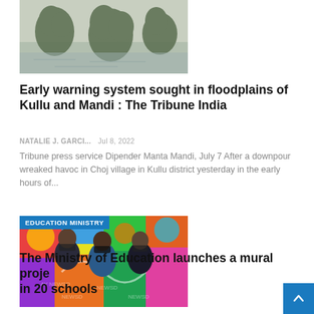[Figure (photo): Aerial or ground view of flooded area with trees and water]
Early warning system sought in floodplains of Kullu and Mandi : The Tribune India
NATALIE J. GARCI...   Jul 8, 2022
Tribune press service Dipender Manta Mandi, July 7 After a downpour wreaked havoc in Choj village in Kullu district yesterday in the early hours of...
[Figure (photo): Three people wearing masks standing in front of a colorful mural wall, with EDUCATION MINISTRY label overlay]
The Ministry of Education launches a mural project in 20 schools